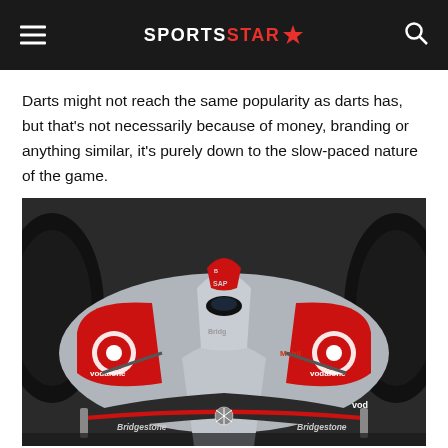SPORTS STAR
Darts might not reach the same popularity as darts has, but that's not necessarily because of money, branding or anything similar, it's purely down to the slow-paced nature of the game.
[Figure (photo): Close-up front view of a McLaren Mercedes Formula 1 car with Vodafone, Bridgestone, and Mobil1 sponsorship logos. Red and silver livery, number 22 visible on nose cone.]